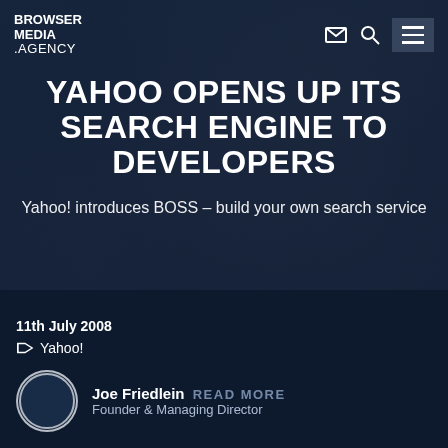[Figure (screenshot): Browser Media Agency website screenshot showing a dark navy blue hero section with rocky background texture. Navigation bar at top with logo, email icon, search icon, and hamburger menu button.]
BROWSER MEDIA .AGENCY
YAHOO OPENS UP ITS SEARCH ENGINE TO DEVELOPERS
Yahoo! introduces BOSS – build your own search service
Like most websites, we use cookies to ensure that we give you the best user experience. By continuing to browse the site, you are agreeing to our use of cookies.
OK
11th July 2008
Yahoo!
Joe Friedlein
READ MORE
Founder & Managing Director